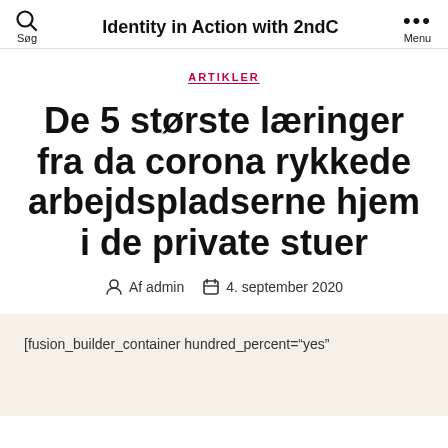Identity in Action with 2ndC
ARTIKLER
De 5 største læringer fra da corona rykkede arbejdspladserne hjem i de private stuer
Af admin  4. september 2020
[fusion_builder_container hundred_percent="yes"